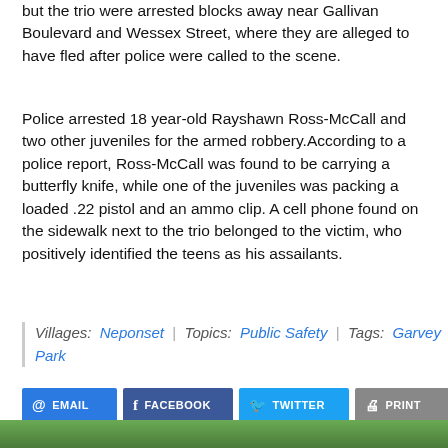but the trio were arrested blocks away near Gallivan Boulevard and Wessex Street, where they are alleged to have fled after police were called to the scene.
Police arrested 18 year-old Rayshawn Ross-McCall and two other juveniles for the armed robbery.According to a police report, Ross-McCall was found to be carrying a butterfly knife, while one of the juveniles was packing a loaded .22 pistol and an ammo clip. A cell phone found on the sidewalk next to the trio belonged to the victim, who positively identified the teens as his assailants.
Villages: Neponset | Topics: Public Safety | Tags: Garvey Park
[Figure (other): Row of social sharing buttons: EMAIL, FACEBOOK, TWITTER, PRINT]
[Figure (photo): Partial green outdoor photo strip at the bottom of the page]